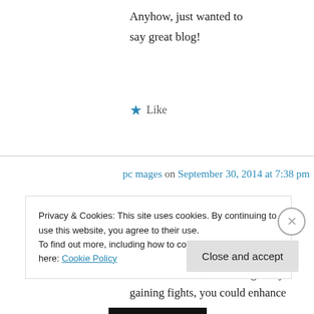Anyhow, just wanted to say great blog!
★ Like
pc mages on September 30, 2014 at 7:38 pm
And you can trace much of that strategy back to a 2008 memo by San Francisco's master of crisis communications, Sam Singer. By gaining fights, you could enhance
Privacy & Cookies: This site uses cookies. By continuing to use this website, you agree to their use.
To find out more, including how to control cookies, see here: Cookie Policy
Close and accept